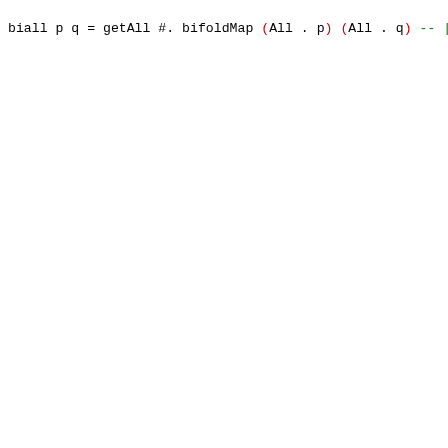biall p q = getAll #. bifoldMap (All . p) (All . q)
-- | The largest element of a non-empty structure with re
-- given comparison function.
--
-- ==== __Examples__
--
-- Basic usage:
--
-- >>> bimaximumBy compare (42, 17)
-- 42
--
-- >>> bimaximumBy compare (Left 17)
-- 17
--
-- >>> bimaximumBy compare (BiList [42, 17, 23] [-5, 18]
-- 42
--
-- On empty structures, this function throws an exception
--
-- >>> bimaximumBy compare (BiList [] [])
-- *** Exception: bifoldr1: empty structure
--
-- @since 4.10.0.0
bimaximumBy :: Bifoldable t => (a -> a -> Ordering) -> t
bimaximumBy cmp = bifoldr1 max'
  where max' x y = case cmp x y of
                        GT -> x
                        _  -> y